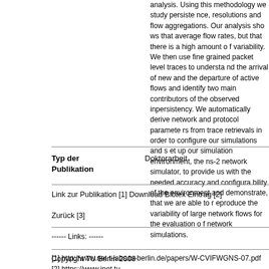analysis. Using this methodology we study persistence, resolutions and flow aggregations. Our analysis shows that average flow rates, but that there is a high amount of variability. We then use fine grained packet level traces to understand the arrival of new and the departure of active flows and identify two main contributors of the observed inpersistency. We automatically derive network and protocol parameters from trace retrievals in order to configure our simulations and set up our simulation environment, the ns-2 network simulator, to provide us with the needed accuracy and configurability of the environment and demonstrate, that we are able to reproduce the variability of large network flows for the evaluation of network simulations.
| Typ der Publikation |  |
| --- | --- |
| Typ der Publikation | Doktorarbeit |
Link zur Publikation [1] Download Bibtex Eintrag [2]
Zurück [3]
------ Links: ------
[1] http://www.net.t-labs.tu-berlin.de/papers/W-CVIFWGNS-07.pdf
[2] https://www.inet.tu-berlin.de/menue/research/publications/by_type/phdthes tex_pi1%5Bcontentelement%5D=tt_content%3A361437
[3] https://www.inet.tu-berlin.de/menue/research/publications/by_type/phdthes
Copyright TU Berlin 2008